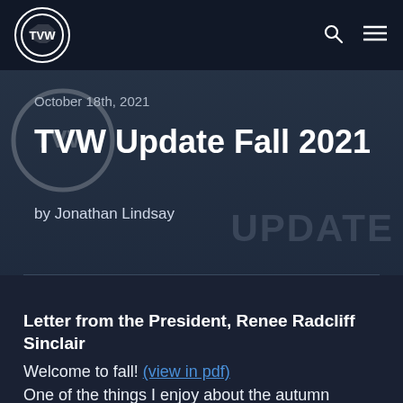TVW
October 18th, 2021
TVW Update Fall 2021
by Jonathan Lindsay
[Figure (photo): Hero image with a person wearing a mask and a TVW Update background watermark text]
Letter from the President, Renee Radcliff Sinclair
Welcome to fall! (view in pdf)
One of the things I enjoy about the autumn